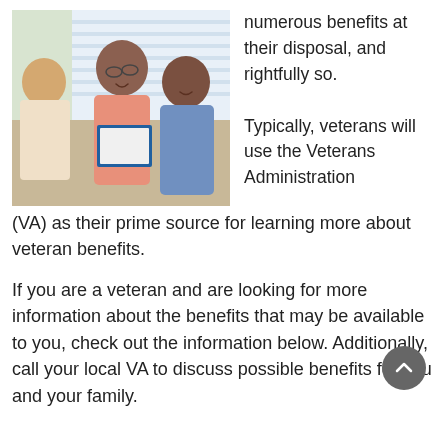[Figure (photo): Photo of an elderly couple smiling and reviewing documents with a consultant]
numerous benefits at their disposal, and rightfully so.

Typically, veterans will use the Veterans Administration (VA) as their prime source for learning more about veteran benefits.
If you are a veteran and are looking for more information about the benefits that may be available to you, check out the information below. Additionally, call your local VA to discuss possible benefits for you and your family.